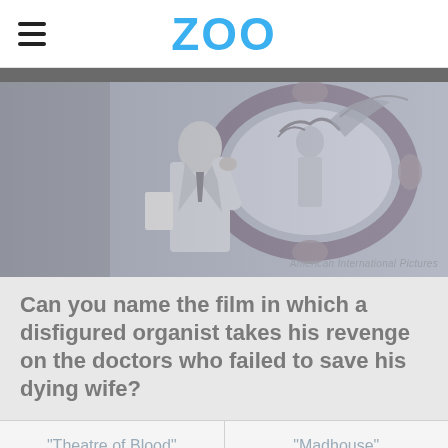ZOO
[Figure (photo): Grayscale vintage film still showing a man in a white suit standing next to an ornate oval mirror, holding papers. American International Pictures credit.]
American International Pictures
Can you name the film in which a disfigured organist takes his revenge on the doctors who failed to save his dying wife?
"Theatre of Blood"
"Madhouse"